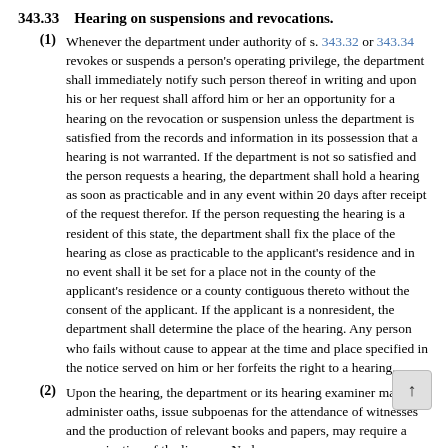343.33    Hearing on suspensions and revocations.
(1) Whenever the department under authority of s. 343.32 or 343.34 revokes or suspends a person's operating privilege, the department shall immediately notify such person thereof in writing and upon his or her request shall afford him or her an opportunity for a hearing on the revocation or suspension unless the department is satisfied from the records and information in its possession that a hearing is not warranted. If the department is not so satisfied and the person requests a hearing, the department shall hold a hearing as soon as practicable and in any event within 20 days after receipt of the request therefor. If the person requesting the hearing is a resident of this state, the department shall fix the place of the hearing as close as practicable to the applicant's residence and in no event shall it be set for a place not in the county of the applicant's residence or a county contiguous thereto without the consent of the applicant. If the applicant is a nonresident, the department shall determine the place of the hearing. Any person who fails without cause to appear at the time and place specified in the notice served on him or her forfeits the right to a hearing.
(2) Upon the hearing, the department or its hearing examiner may administer oaths, issue subpoenas for the attendance of witnesses and the production of relevant books and papers, may require a reexamination of the licensee. No law...